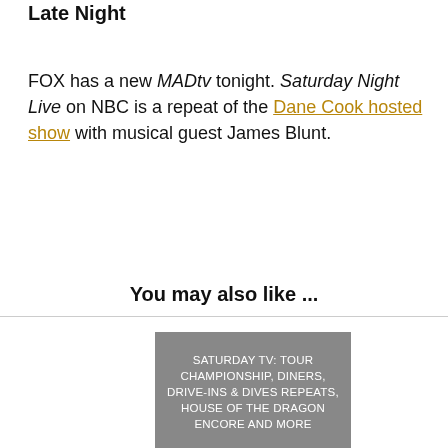Late Night
FOX has a new MADtv tonight. Saturday Night Live on NBC is a repeat of the Dane Cook hosted show with musical guest James Blunt.
You may also like ...
[Figure (other): Gray card thumbnail for Saturday TV article: SATURDAY TV: TOUR CHAMPIONSHIP, DINERS, DRIVE-INS & DIVES REPEATS, HOUSE OF THE DRAGON ENCORE AND MORE]
[Figure (other): Gray card thumbnail for Wednesday TV article: WEDNESDAY TV: HOUSE OF THE DRAGON ENCORE, GUY'S GROCERY]